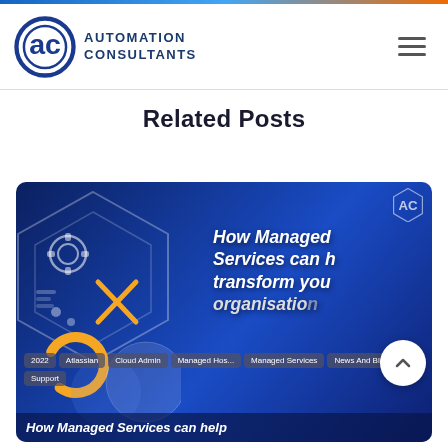Automation Consultants
Related Posts
[Figure (screenshot): Blog post card with dark blue background showing 'How Managed Services can help transform your organisation' with hexagonal decorative graphic, category tags (2022, Atlassian, Cloud Admin, Managed Hosting, Managed Services, News And Blogs, Support), and partially visible article title at bottom.]
How Managed Services can help transform your organisation
2022  Atlassian  Cloud Admin  Managed Hosting  Managed Services  News And Blogs  Support